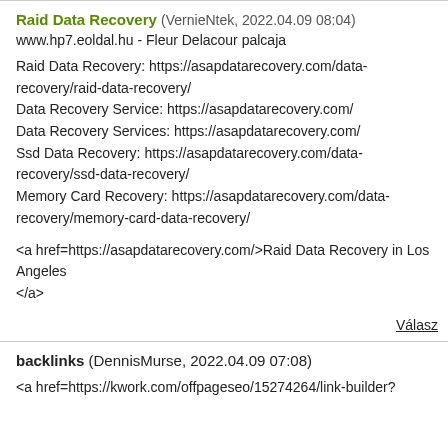Raid Data Recovery (VernieNtek, 2022.04.09 08:04)
www.hp7.eoldal.hu - Fleur Delacour palcaja
Raid Data Recovery: https://asapdatarecovery.com/data-recovery/raid-data-recovery/
Data Recovery Service: https://asapdatarecovery.com/
Data Recovery Services: https://asapdatarecovery.com/
Ssd Data Recovery: https://asapdatarecovery.com/data-recovery/ssd-data-recovery/
Memory Card Recovery: https://asapdatarecovery.com/data-recovery/memory-card-data-recovery/
<a href=https://asapdatarecovery.com/>Raid Data Recovery in Los Angeles
</a>
Válasz
backlinks (DennisMurse, 2022.04.09 07:08)
<a href=https://kwork.com/offpageseo/15274264/link-builder?